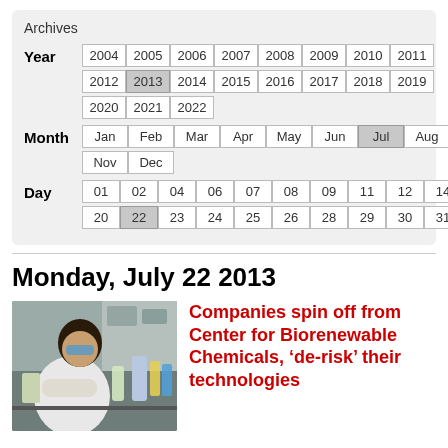Archives
| Label | Values |
| --- | --- |
| Year | 2004 2005 2006 2007 2008 2009 2010 2011 2012 2013 2014 2015 2016 2017 2018 2019 2020 2021 2022 |
| Month | Jan Feb Mar Apr May Jun Jul Aug Sep Oct Nov Dec |
| Day | 01 02 04 06 07 08 09 11 12 14 15 17 18 20 22 23 24 25 26 28 29 30 31 |
Monday, July 22 2013
[Figure (photo): A researcher in a white lab coat and blue safety goggles working in a laboratory setting with equipment and bottles visible.]
Companies spin off from Center for Biorenewable Chemicals, ‘de-risk’ their technologies